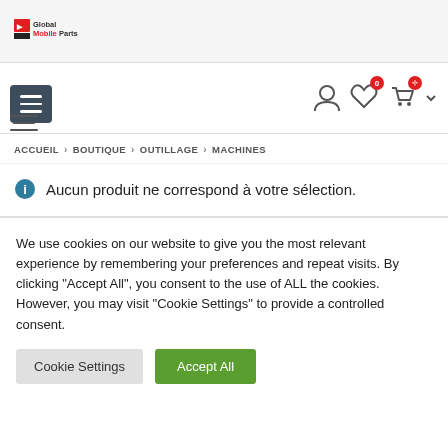Global Mobile Parts logo
[Figure (screenshot): Navigation bar with hamburger menu button, filter icon, user icon, heart/wishlist icon with badge '0', shopping cart icon with badge, and dropdown arrow]
ACCUEIL > BOUTIQUE > OUTILLAGE > MACHINES
Aucun produit ne correspond à votre sélection.
We use cookies on our website to give you the most relevant experience by remembering your preferences and repeat visits. By clicking "Accept All", you consent to the use of ALL the cookies. However, you may visit "Cookie Settings" to provide a controlled consent.
Cookie Settings | Accept All